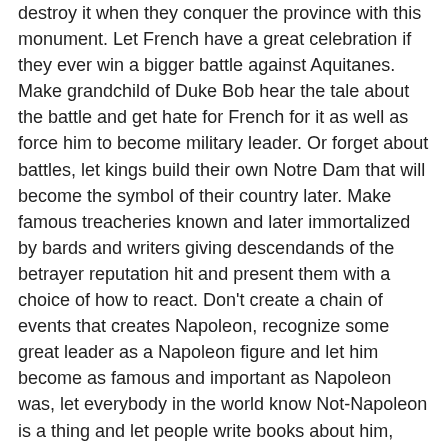destroy it when they conquer the province with this monument. Let French have a great celebration if they ever win a bigger battle against Aquitanes. Make grandchild of Duke Bob hear the tale about the battle and get hate for French for it as well as force him to become military leader. Or forget about battles, let kings build their own Notre Dam that will become the symbol of their country later. Make famous treacheries known and later immortalized by bards and writers giving descendands of the betrayer reputation hit and present them with a choice of how to react. Don't create a chain of events that creates Napoleon, recognize some great leader as a Napoleon figure and let him become as famous and important as Napoleon was, let everybody in the world know Not-Napoleon is a thing and let people write books about him, love him and hate him.
The closest thing to this are some CK2 events (Joan of Arc and demon child), but those do not leave lasting effect. Civilization 5 has some of it: Archaelogy system is not great but it leads you to real abandoned cities and fields of battle which is great. Plus you remember art from past eras even though it's immersion breaking as you can have Fur Elise in 350 BC.
Or, by the way, Borodino. It's funny how you can call it obscure even though it was the biggest battle in history up to WW1 I think. Anyway